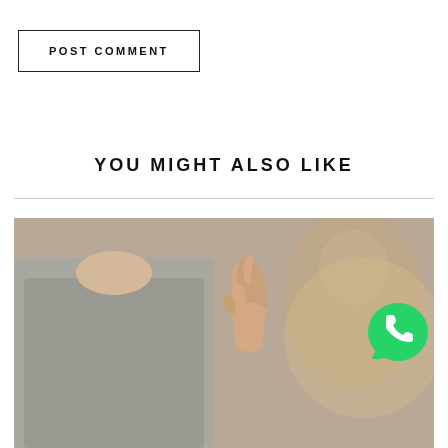POST COMMENT
YOU MIGHT ALSO LIKE
[Figure (photo): Person in yoga/meditation pose with hands pressed together in prayer position, wearing grey top, blurred background with another person visible]